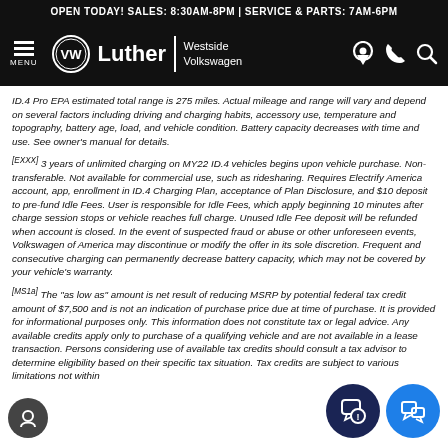OPEN TODAY! SALES: 8:30AM-8PM | SERVICE & PARTS: 7AM-6PM
MENU — Luther Westside Volkswagen
ID.4 Pro EPA estimated total range is 275 miles. Actual mileage and range will vary and depend on several factors including driving and charging habits, accessory use, temperature and topography, battery age, load, and vehicle condition. Battery capacity decreases with time and use. See owner's manual for details.
[EXXX] 3 years of unlimited charging on MY22 ID.4 vehicles begins upon vehicle purchase. Non-transferable. Not available for commercial use, such as ridesharing. Requires Electrify America account, app, enrollment in ID.4 Charging Plan, acceptance of Plan Disclosure, and $10 deposit to pre-fund Idle Fees. User is responsible for Idle Fees, which apply beginning 10 minutes after charge session stops or vehicle reaches full charge. Unused Idle Fee deposit will be refunded when account is closed. In the event of suspected fraud or abuse or other unforeseen events, Volkswagen of America may discontinue or modify the offer in its sole discretion. Frequent and consecutive charging can permanently decrease battery capacity, which may not be covered by your vehicle's warranty.
[MS1a] The "as low as" amount is net result of reducing MSRP by potential federal tax credit amount of $7,500 and is not an indication of purchase price due at time of purchase. It is provided for informational purposes only. This information does not constitute tax or legal advice. Any available credits apply only to purchase of a qualifying vehicle and are not available in a lease transaction. Persons considering use of available tax credits should consult a tax advisor to determine eligibility based on their specific tax situation. Tax credits are subject to various limitations not within